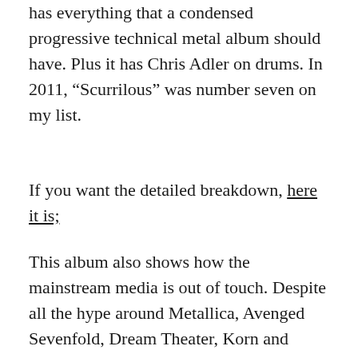has everything that a condensed progressive technical metal album should have. Plus it has Chris Adler on drums. In 2011, “Scurrilous” was number seven on my list.
If you want the detailed breakdown, here it is;
This album also shows how the mainstream media is out of touch. Despite all the hype around Metallica, Avenged Sevenfold, Dream Theater, Korn and Black Sabbath, the biggest release of the year belongs to Protest The Hero.